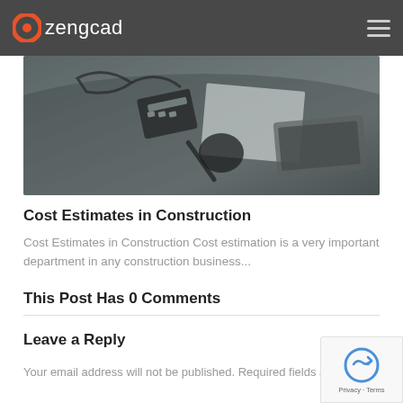zengcad
[Figure (photo): Overhead view of a desk with calculator, papers, pen, and laptop keyboard — construction/engineering office setting, dark desaturated tones]
Cost Estimates in Construction
Cost Estimates in Construction Cost estimation is a very important department in any construction business...
This Post Has 0 Comments
Leave a Reply
Your email address will not be published. Required fields are